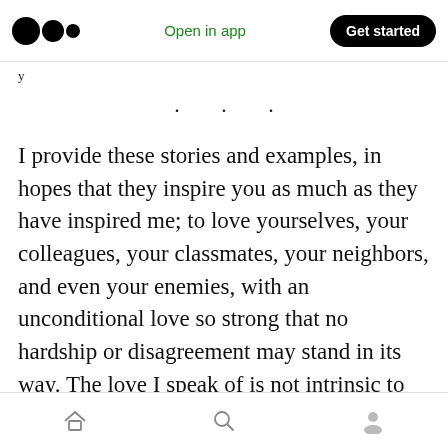Medium logo | Open in app | Get started
y
· · ·
I provide these stories and examples, in hopes that they inspire you as much as they have inspired me; to love yourselves, your colleagues, your classmates, your neighbors, and even your enemies, with an unconditional love so strong that no hardship or disagreement may stand in its way. The love I speak of is not intrinsic to our nature, and in many ways, resists some of our deepest primitive instincts. It is, however, a love
Home | Search | Profile